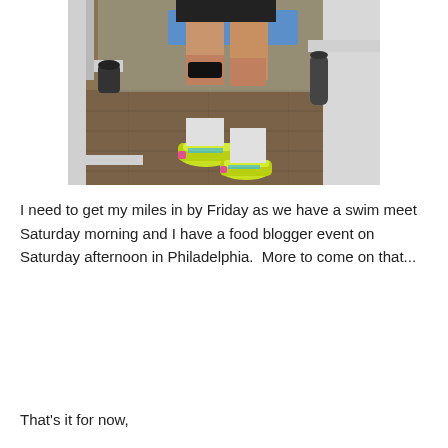[Figure (photo): Photo of a person's legs from the waist down standing in a gym, wearing black shorts, a black knee brace, and bright neon yellow/green athletic shoes. Gym equipment including white metal frames and a blue mat are visible in the background on a wood-toned floor.]
I need to get my miles in by Friday as we have a swim meet Saturday morning and I have a food blogger event on Saturday afternoon in Philadelphia.  More to come on that...
That's it for now,